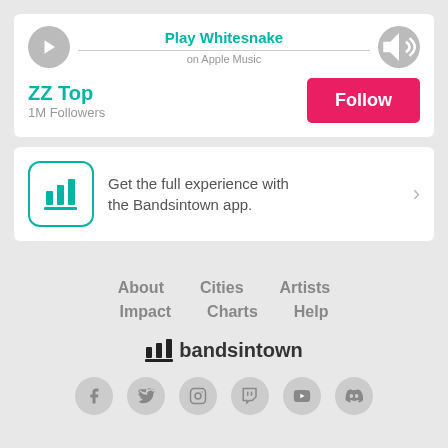[Figure (screenshot): Apple Music player widget showing Play Whitesnake button with play and volume controls]
Play Whitesnake
on Apple Music
ZZ Top
1M Followers
Follow
Get the full experience with the Bandsintown app.
About
Cities
Artists
Impact
Charts
Help
bandsintown
[Figure (logo): Social media icons row: Facebook, Twitter, Instagram, Twitch, YouTube, Discord]